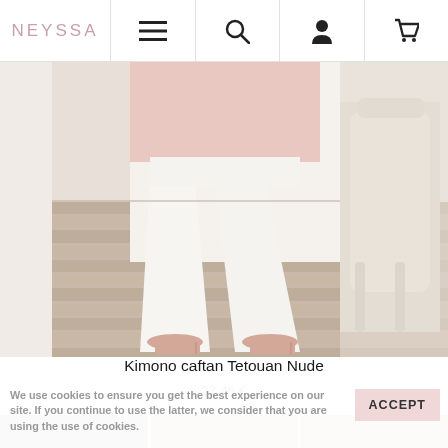NEYSSA [navigation bar with menu, search, account, cart icons]
[Figure (photo): Fashion product photo showing lower body of a model wearing wide-leg white trousers and a pink floral top, with nude pointed-toe heels, standing on light wood-look flooring next to an ornate white chair]
Kimono caftan Tetouan Nude
37,46 €
We use cookies to ensure you get the best experience on our site. If you continue to use the latter, we consider that you are using the use of cookies.
ACCEPT